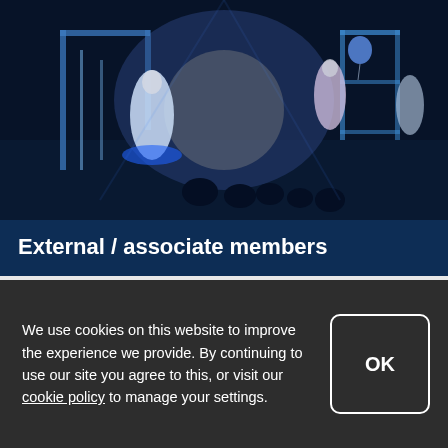[Figure (photo): Dark blue-lit indoor event space with performers in white dresses and illuminated LED panels/structures, viewed from above]
External / associate members
Information and contact details for the Centre's external and associate members.
We use cookies on this website to improve the experience we provide. By continuing to use our site you agree to this, or visit our cookie policy to manage your settings.